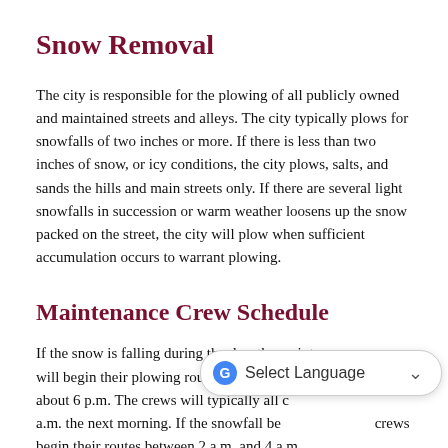Snow Removal
The city is responsible for the plowing of all publicly owned and maintained streets and alleys. The city typically plows for snowfalls of two inches or more. If there is less than two inches of snow, or icy conditions, the city plows, salts, and sands the hills and main streets only. If there are several light snowfalls in succession or warm weather loosens up the snow packed on the street, the city will plow when sufficient accumulation occurs to warrant plowing.
Maintenance Crew Schedule
If the snow is falling during the day, the maintenance crews will begin their plowing routes immediately and work until about 6 p.m. The crews will typically all come in at about 2 a.m. the next morning. If the snowfall begins overnight, crews begin their routes between 2 a.m. and 4 a.m.